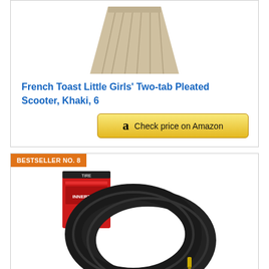[Figure (photo): Khaki pleated scooter skirt product photo on white background]
French Toast Little Girls' Two-tab Pleated Scooter, Khaki, 6
[Figure (other): Check price on Amazon button with Amazon logo]
BESTSELLER NO. 8
[Figure (photo): Two black scooter inner tube rings with red product box]